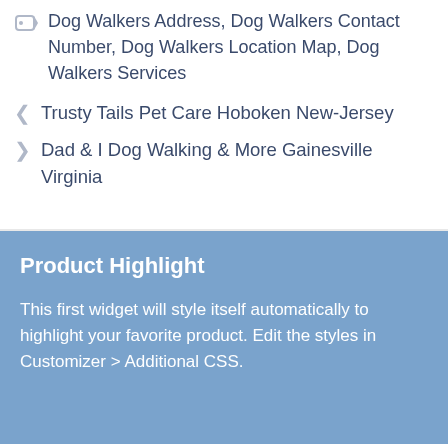Dog Walkers Address, Dog Walkers Contact Number, Dog Walkers Location Map, Dog Walkers Services
Trusty Tails Pet Care Hoboken New-Jersey
Dad & I Dog Walking & More Gainesville Virginia
Product Highlight
This first widget will style itself automatically to highlight your favorite product. Edit the styles in Customizer > Additional CSS.